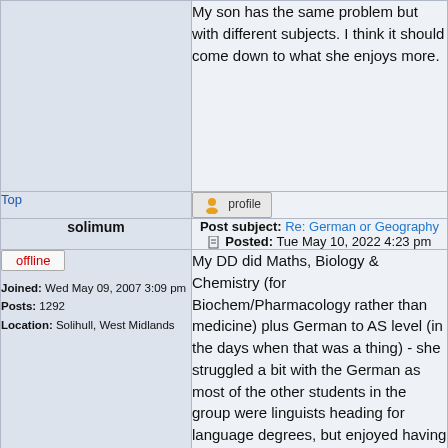My son has the same problem but with different subjects. I think it should come down to what she enjoys more.
Top
Post subject: Re: German or Geography Posted: Tue May 10, 2022 4:23 pm
solimum
offline
Joined: Wed May 09, 2007 3:09 pm Posts: 1292 Location: Solihull, West Midlands
My DD did Maths, Biology & Chemistry (for Biochem/Pharmacology rather than medicine) plus German to AS level (in the days when that was a thing) - she struggled a bit with the German as most of the other students in the group were linguists heading for language degrees, but enjoyed having something different with less pressure and a relatively small group, as her offers were all for